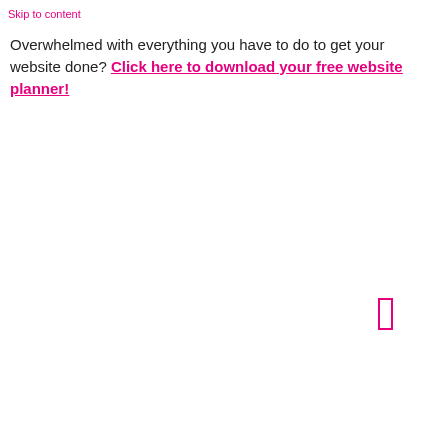Skip to content
Overwhelmed with everything you have to do to get your website done? Click here to download your free website planner!